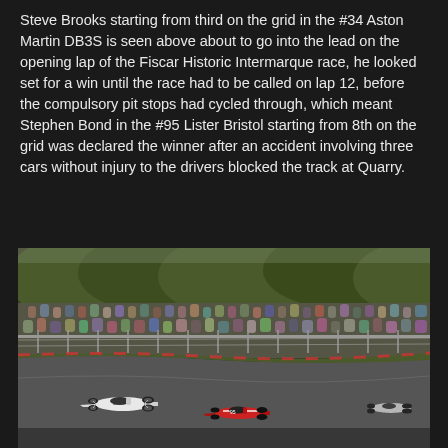Steve Brooks starting from third on the grid in the #34 Aston Martin DB3S is seen above about to go into the lead on the opening lap of the Fiscar Historic Intermarque race, he looked set for a win until the race had to be called on lap 12, before the compulsory pit stops had cycled through, which meant Stephen Bond in the #95 Lister Bristol starting from 8th on the grid was declared the winner after an accident involving three cars without injury to the drivers blocked the track at Quarry.
[Figure (photo): A historic motor racing photo showing vintage racing cars on a circuit with a large crowd of spectators watching from behind barriers and fencing. Trees are visible in the background. Two open-wheel vintage racing cars are visible on the track, one white and one with red markings.]